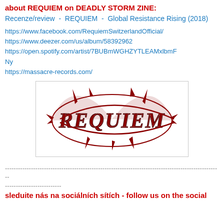about REQUIEM on DEADLY STORM ZINE:
Recenze/review - REQUIEM - Global Resistance Rising (2018)
https://www.facebook.com/RequiemSwitzerlandOfficial/
https://www.deezer.com/us/album/58392962
https://open.spotify.com/artist/7BUBmWGHZYTLEAMxlbmFNy
https://massacre-records.com/
[Figure (logo): REQUIEM band logo in dark red metal style lettering with spiky decorative elements, on white background]
----------------------------------------------------------------------------------------------------
--------------------------
sleduite nás na sociálních sítích - follow us on the social